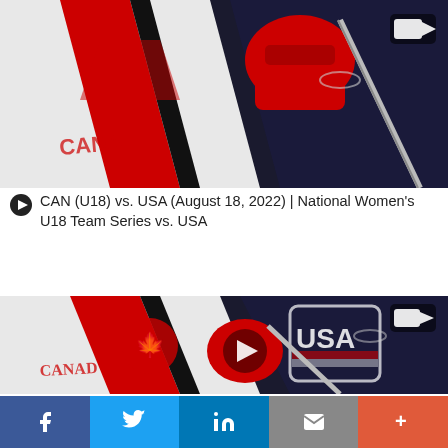[Figure (photo): Hockey jerseys showing Canada and USA players with hockey sticks and gloves, video thumbnail with camera icon overlay (top, partial/cropped)]
CAN (U18) vs. USA (August 18, 2022) | National Women's U18 Team Series vs. USA
[Figure (photo): Hockey jerseys showing Canada and USA players with hockey sticks and gloves, video thumbnail with play button overlay and camera icon, Team Canada maple leaf crest visible]
CAN (U18) vs. USA (August 17, 2022) | National
f  Twitter  in  Email  +